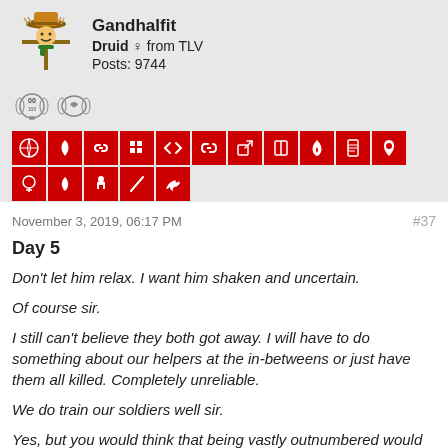[Figure (illustration): Scarecrow avatar icon with straw hat and scarf]
Gandhalfit
Druid ♀ from TLV
Posts: 9744
[Figure (other): Two badge icons and a row of 16 red icon boxes with symbols]
November 3, 2019, 06:17 PM
#37
Day 5
Don't let him relax. I want him shaken and uncertain.
Of course sir.
I still can't believe they both got away. I will have to do something about our helpers at the in-betweens or just have them all killed. Completely unreliable.
We do train our soldiers well sir.
Yes, but you would think that being vastly outnumbered would help. In any case, at least we have the cart. It's a shame he can't be out and about again but I suppose putting him where he at least can't do harm is 'something'.